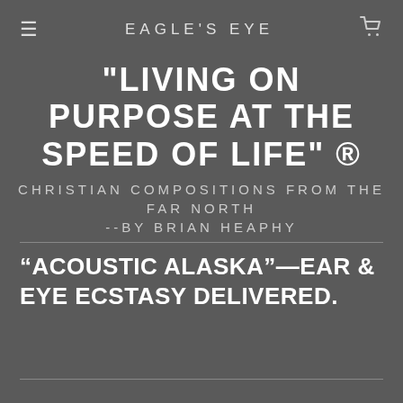EAGLE'S EYE
"LIVING ON PURPOSE AT THE SPEED OF LIFE" ®
CHRISTIAN COMPOSITIONS FROM THE FAR NORTH
--BY BRIAN HEAPHY
“ACOUSTIC ALASKA”—EAR & EYE ECSTASY DELIVERED.